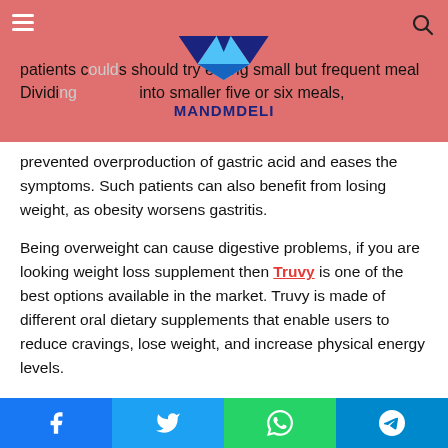MANDMDELI website header with logo and navigation
patients can also benefit from losing weight, as obesity worsens gastritis.
Being overweight can cause digestive problems, if you are looking weight loss supplement then Truvy is one of the best options available in the market. Truvy is made of different oral dietary supplements that enable users to reduce cravings, lose weight, and increase physical energy levels.
In most cases, the symptoms are not severe enough to warrant supplementation but talk to your health care provider about supplementation with omega-3 fatty acids and vitamin B
Social share buttons: Facebook, Twitter, WhatsApp, Telegram